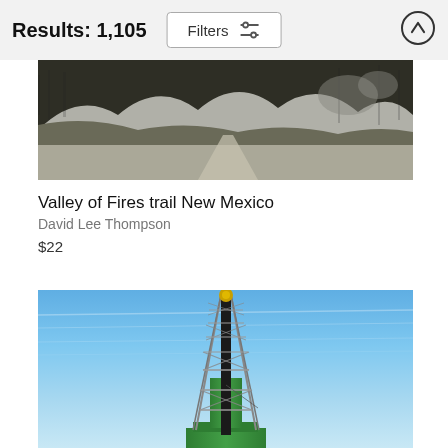Results: 1,105
[Figure (photo): Black and white photograph of Valley of Fires trail landscape in New Mexico, showing rocky terrain and vegetation with a path/road visible]
Valley of Fires trail New Mexico
David Lee Thompson
$22
[Figure (photo): Color photograph of an oil drilling rig tower against a blue sky. The rig is green metal with a lattice mast structure and golden apex, set against a clear blue sky with light cloud streaks.]